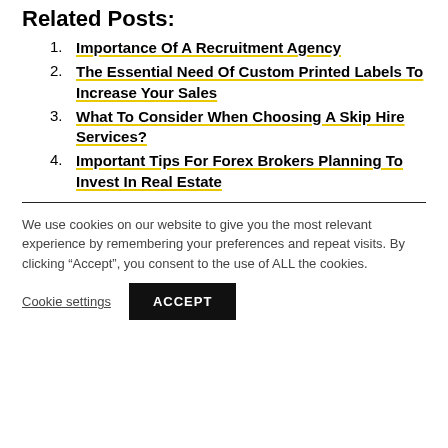Related Posts:
Importance Of A Recruitment Agency
The Essential Need Of Custom Printed Labels To Increase Your Sales
What To Consider When Choosing A Skip Hire Services?
Important Tips For Forex Brokers Planning To Invest In Real Estate
We use cookies on our website to give you the most relevant experience by remembering your preferences and repeat visits. By clicking “Accept”, you consent to the use of ALL the cookies.
Cookie settings  ACCEPT